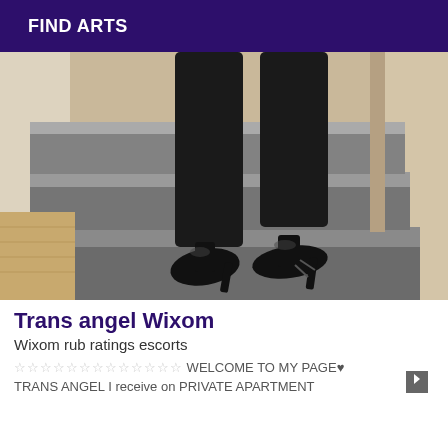FIND ARTS
[Figure (photo): Person's legs in black tights and black high heels standing on dark carpeted stairs with light wooden flooring visible in background]
Trans angel Wixom
Wixom rub ratings escorts
☆☆☆☆☆☆☆☆☆☆☆☆☆ WELCOME TO MY PAGE♥ TRANS ANGEL I receive on PRIVATE APARTMENT